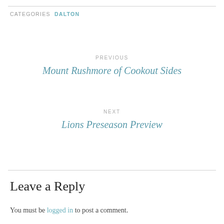CATEGORIES  DALTON
PREVIOUS
Mount Rushmore of Cookout Sides
NEXT
Lions Preseason Preview
Leave a Reply
You must be logged in to post a comment.